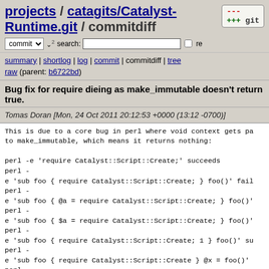projects / catagits/Catalyst-Runtime.git / commitdiff
commit | search: | re (git icon with +++ and ---)
summary | shortlog | log | commit | commitdiff | tree
raw (parent: b6722bd)
Bug fix for require dieing as make_immutable doesn't return true.
Tomas Doran [Mon, 24 Oct 2011 20:12:53 +0000 (13:12 -0700)]
This is due to a core bug in perl where void context gets pa
to make_immutable, which means it returns nothing:

perl -e 'require Catalyst::Script::Create;' succeeds
perl -
e 'sub foo { require Catalyst::Script::Create; } foo()' fail
perl -
e 'sub foo { @a = require Catalyst::Script::Create; } foo()'
perl -
e 'sub foo { $a = require Catalyst::Script::Create; } foo()'
perl -
e 'sub foo { require Catalyst::Script::Create; 1 } foo()' su
perl -
e 'sub foo { require Catalyst::Script::Create } @x = foo()'
perl -
e 'sub foo { require Catalyst::Script::Create } $x = foo()'

Perl versions affected: 5.8 and 5.10, others do not have thi